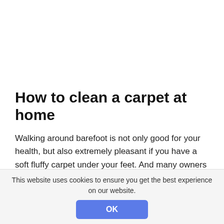How to clean a carpet at home
Walking around barefoot is not only good for your health, but also extremely pleasant if you have a soft fluffy carpet under your feet. And many owners carpeted not only bedrooms and living rooms, but also children's rooms, corridors, hallways and even sometimes kitchens. Over time, in places of active use, carpets become dirty, dull, spots appear. Then the question arises: how is carpet cleaning? What means to use,
This website uses cookies to ensure you get the best experience on our website.